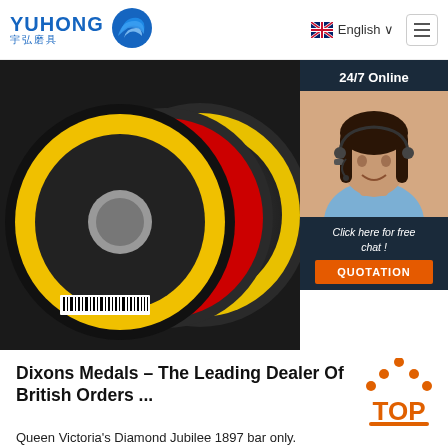[Figure (logo): Yuhong 宇弘磨具 logo with blue wave icon]
English ∨
[Figure (photo): Flap discs / grinding wheels product photo on dark background]
24/7 Online
[Figure (photo): Customer service agent woman with headset smiling]
Click here for free chat !
QUOTATION
[Figure (illustration): TOP badge with orange dots forming triangle above orange text]
Dixons Medals – The Leading Dealer Of British Orders ...
Queen Victoria's Diamond Jubilee 1897 bar only.